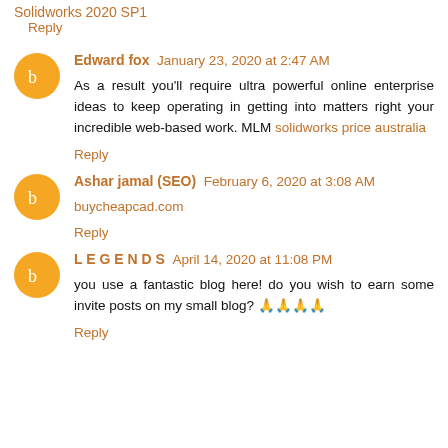Solidworks 2020 SP1
Reply
Edward fox  January 23, 2020 at 2:47 AM
As a result you'll require ultra powerful online enterprise ideas to keep operating in getting into matters right your incredible web-based work. MLM solidworks price australia
Reply
Ashar jamal (SEO)  February 6, 2020 at 3:08 AM
buycheapcad.com
Reply
L E G E N D S  April 14, 2020 at 11:08 PM
you use a fantastic blog here! do you wish to earn some invite posts on my small blog? 🙏🙏🙏🙏
Reply